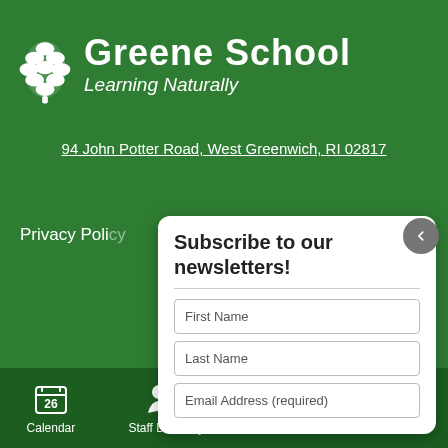[Figure (logo): Greene School logo - pine cone icon in white]
Greene School
Learning Naturally
94 John Potter Road, West Greenwich, RI 02817
Privacy Poli...
Subscribe to our newsletters!
First Name
Last Name
Email Address (required)
Calendar   Staff Directory   Homework   Directions